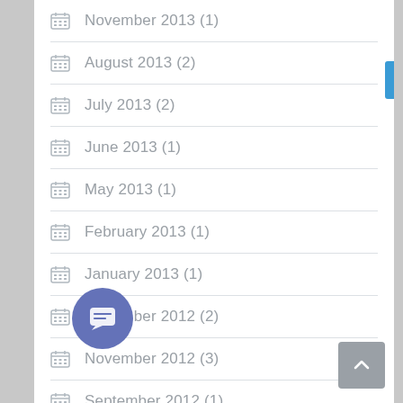November 2013 (1)
August 2013 (2)
July 2013 (2)
June 2013 (1)
May 2013 (1)
February 2013 (1)
January 2013 (1)
December 2012 (2)
November 2012 (3)
September 2012 (1)
August 2012 (1)
May 2012 (3)